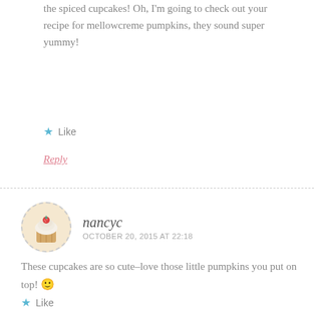the spiced cupcakes! Oh, I'm going to check out your recipe for mellowcreme pumpkins, they sound super yummy!
Like
Reply
nancyc
OCTOBER 20, 2015 AT 22:18
These cupcakes are so cute–love those little pumpkins you put on top! 🙂
Like
Reply